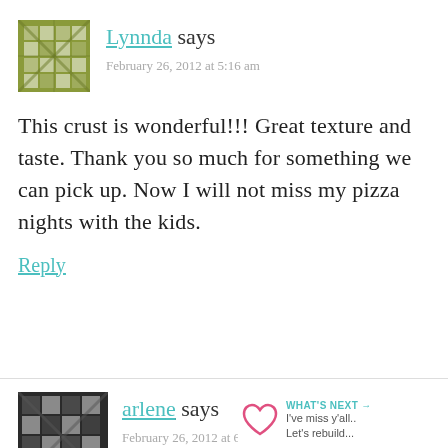[Figure (illustration): Green decorative avatar/icon with geometric diamond pattern]
Lynnda says
February 26, 2012 at 5:16 am
This crust is wonderful!!! Great texture and taste. Thank you so much for something we can pick up. Now I will not miss my pizza nights with the kids.
Reply
[Figure (illustration): Dark/black decorative avatar/icon with geometric diamond pattern]
arlene says
February 26, 2012 at 6:25 am
This was incredible! My two teens LOVED it too. Thanks so much for this
[Figure (illustration): Share icon button (circular with share symbol)]
WHAT'S NEXT → I've miss y'all.. Let's rebuild...